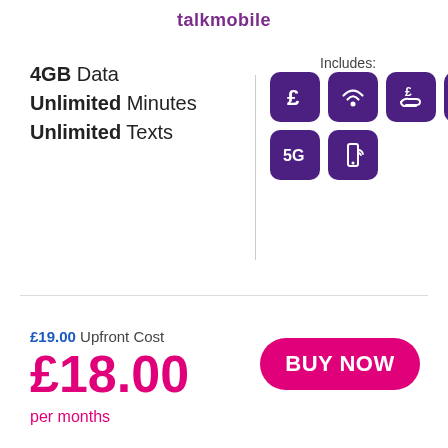talkmobile
4GB Data
Unlimited Minutes
Unlimited Texts
Includes:
[Figure (infographic): Six purple rounded-square icons: pound sign, wifi/signal, pound on hand, airplane, 5G, phone with signal waves]
£19.00 Upfront Cost
£18.00 per months
[Figure (other): Pink rounded rectangle BUY NOW button]
This website uses cookies to ensure you get the best experience on our website.
Learn more
Got It!
WiFi and 4G Voice Calling